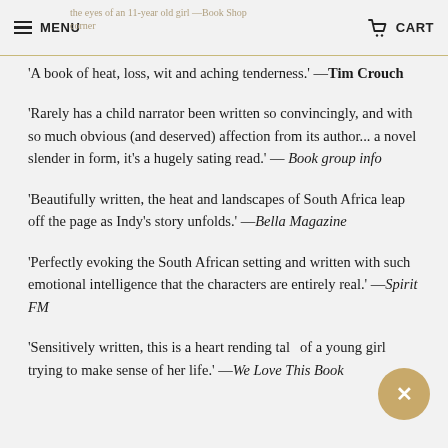MENU | CART
'A book of heat, loss, wit and aching tenderness.' —Tim Crouch
'Rarely has a child narrator been written so convincingly, and with so much obvious (and deserved) affection from its author... a novel slender in form, it's a hugely sating read.' — Book group info
'Beautifully written, the heat and landscapes of South Africa leap off the page as Indy's story unfolds.' —Bella Magazine
'Perfectly evoking the South African setting and written with such emotional intelligence that the characters are entirely real.' —Spirit FM
'Sensitively written, this is a heart rending tale of a young girl trying to make sense of her life.' —We Love This Book